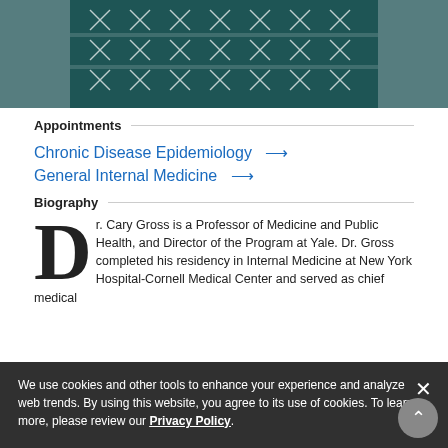[Figure (photo): Partial photo of a person wearing a dark teal/green Nordic-pattern sweater with white geometric designs, cropped at torso level]
Appointments
Chronic Disease Epidemiology →
General Internal Medicine →
Biography
Dr. Cary Gross is a Professor of Medicine and Public Health, and Director of the Program at Yale. Dr. Gross completed his residency in Internal Medicine at New York Hospital-Cornell Medical Center and served as chief medical
We use cookies and other tools to enhance your experience and analyze web trends. By using this website, you agree to its use of cookies. To learn more, please review our Privacy Policy.